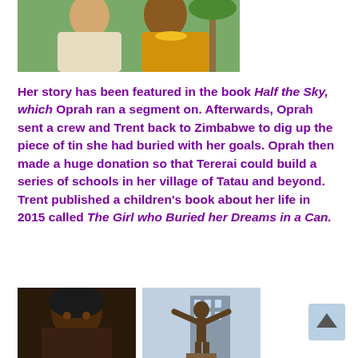[Figure (photo): Two women posing together outdoors, one in white/beige top and one in yellow/orange top, with green foliage in background]
Her story has been featured in the book Half the Sky, which Oprah ran a segment on. Afterwards, Oprah sent a crew and Trent back to Zimbabwe to dig up the piece of tin she had buried with her goals. Oprah then made a huge donation so that Tererai could build a series of schools in her village of Tatau and beyond. Trent published a children's book about her life in 2015 called The Girl who Buried her Dreams in a Can.
[Figure (photo): Left: close-up portrait of a woman. Right: statue of a figure with arms raised against a building backdrop]
[Figure (other): Scroll-to-top button with upward arrow]